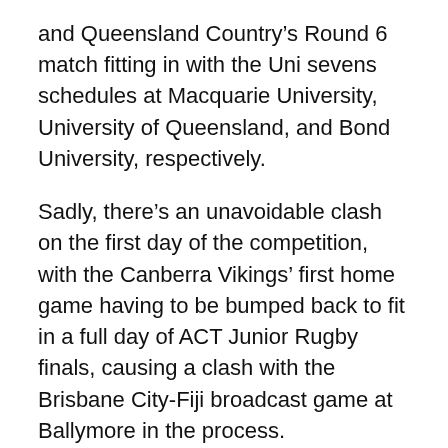and Queensland Country's Round 6 match fitting in with the Uni sevens schedules at Macquarie University, University of Queensland, and Bond University, respectively.
Sadly, there's an unavoidable clash on the first day of the competition, with the Canberra Vikings' first home game having to be bumped back to fit in a full day of ACT Junior Rugby finals, causing a clash with the Brisbane City-Fiji broadcast game at Ballymore in the process.
A later kick-off wasn't possible in Canberra, so the clash was very reluctantly agreed to.